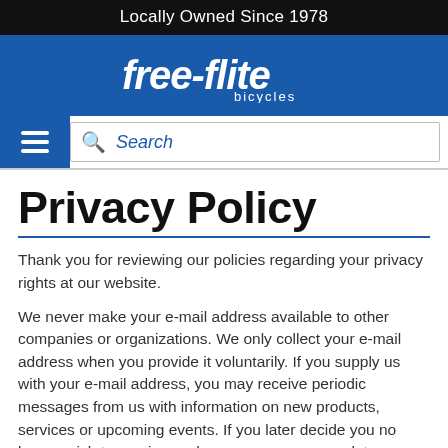Locally Owned Since 1978
[Figure (logo): Free-flite Bicycles logo in white text on blue background]
[Figure (screenshot): Navigation bar with hamburger menu icon and search bar with placeholder text 'Search']
Privacy Policy
Thank you for reviewing our policies regarding your privacy rights at our website.
We never make your e-mail address available to other companies or organizations. We only collect your e-mail address when you provide it voluntarily. If you supply us with your e-mail address, you may receive periodic messages from us with information on new products, services or upcoming events. If you later decide you no longer wish to receive such messages, you may let us